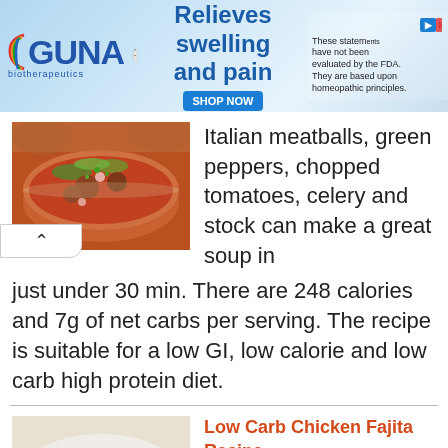[Figure (photo): GUNA biotherapeutics advertisement banner showing logo, product bottle, 'Relieves swelling and pain' text with SHOP NOW button, and disclaimer about FDA evaluation]
[Figure (photo): Bowl of Italian meatball soup with green peppers and tomatoes]
Italian meatballs, green peppers, chopped tomatoes, celery and stock can make a great soup in just under 30 min. There are 248 calories and 7g of net carbs per serving. The recipe is suitable for a low GI, low calorie and low carb high protein diet.
[Figure (photo): Low carb chicken fajita served in lettuce wraps with salsa, guacamole and toppings]
Low Carb Chicken Fajita Recipe
Chicken, salsa, guacamole, sour cream, pepper, onion, and lettuce are the